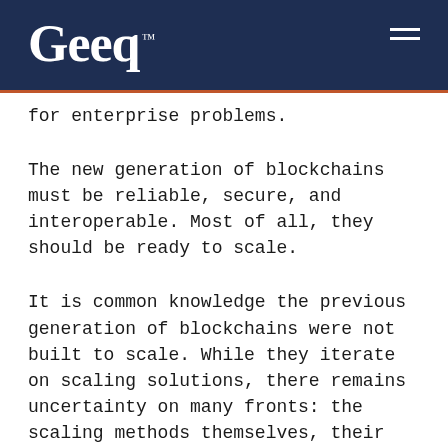Geeq™
for enterprise problems.
The new generation of blockchains must be reliable, secure, and interoperable. Most of all, they should be ready to scale.
It is common knowledge the previous generation of blockchains were not built to scale. While they iterate on scaling solutions, there remains uncertainty on many fronts: the scaling methods themselves, their security, their resource requirements, and many other issues.